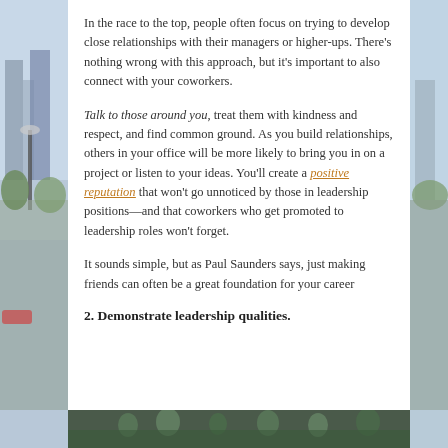In the race to the top, people often focus on trying to develop close relationships with their managers or higher-ups. There's nothing wrong with this approach, but it's important to also connect with your coworkers.
Talk to those around you, treat them with kindness and respect, and find common ground. As you build relationships, others in your office will be more likely to bring you in on a project or listen to your ideas. You'll create a positive reputation that won't go unnoticed by those in leadership positions—and that coworkers who get promoted to leadership roles won't forget.
It sounds simple, but as Paul Saunders says, just making friends can often be a great foundation for your career
2. Demonstrate leadership qualities.
[Figure (photo): Street scene photo strip at the bottom of the page]